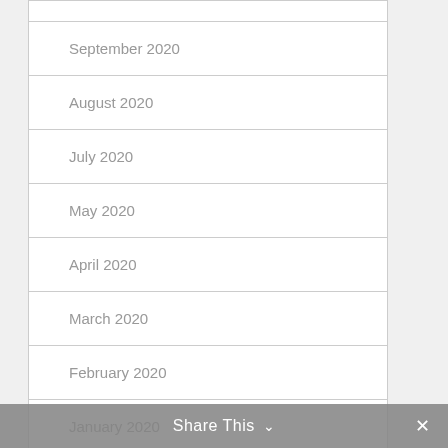September 2020
August 2020
July 2020
May 2020
April 2020
March 2020
February 2020
January 2020
Share This ∨  ✕